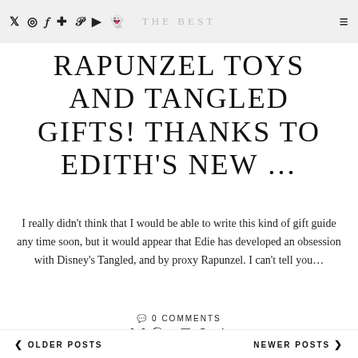THE BEST
RAPUNZEL TOYS AND TANGLED GIFTS! THANKS TO EDITH'S NEW …
I really didn't think that I would be able to write this kind of gift guide any time soon, but it would appear that Edie has developed an obsession with Disney's Tangled, and by proxy Rapunzel. I can't tell you...
💬 0 COMMENTS
✉ f 🐦 ⊕ t ⊗ G+ in ∫
< OLDER POSTS    NEWER POSTS >